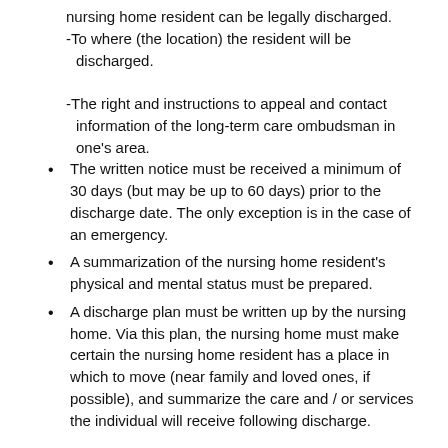nursing home resident can be legally discharged. -To where (the location) the resident will be discharged. -The right and instructions to appeal and contact information of the long-term care ombudsman in one's area.
The written notice must be received a minimum of 30 days (but may be up to 60 days) prior to the discharge date. The only exception is in the case of an emergency.
A summarization of the nursing home resident's physical and mental status must be prepared.
A discharge plan must be written up by the nursing home. Via this plan, the nursing home must make certain the nursing home resident has a place in which to move (near family and loved ones, if possible), and summarize the care and / or services the individual will receive following discharge.
Common Reasons for Illegal Nursing Home